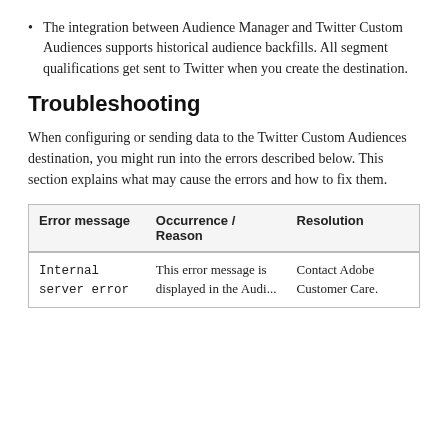The integration between Audience Manager and Twitter Custom Audiences supports historical audience backfills. All segment qualifications get sent to Twitter when you create the destination.
Troubleshooting
When configuring or sending data to the Twitter Custom Audiences destination, you might run into the errors described below. This section explains what may cause the errors and how to fix them.
| Error message | Occurrence / Reason | Resolution |
| --- | --- | --- |
| Internal server error | This error message is displayed in the Audi... | Contact Adobe Customer Care. |